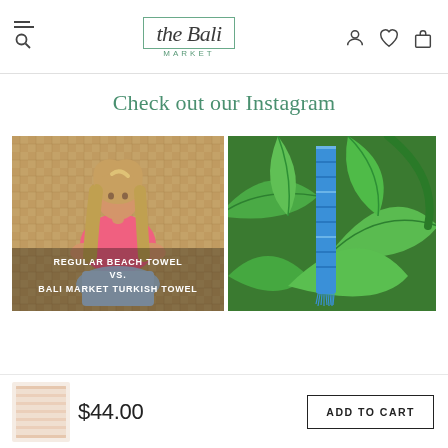[Figure (screenshot): The Bali Market website header with hamburger/search icon on left, logo in center, and user/wishlist/cart icons on right]
Check out our Instagram
[Figure (photo): Instagram post: woman in pink top sitting in front of woven rattan screen with text overlay reading REGULAR BEACH TOWEL VS. BALI MARKET TURKISH TOWEL]
[Figure (photo): Instagram post: blue Turkish towel hanging among large tropical green leaves in a lush garden]
[Figure (photo): Product thumbnail: peach/blush striped Turkish towel folded]
$44.00
ADD TO CART